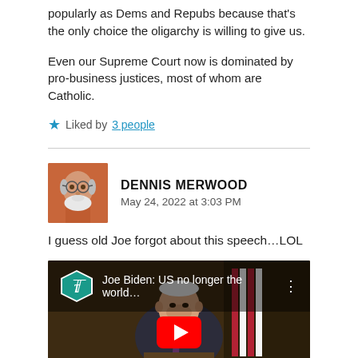popularly as Dems and Repubs because that's the only choice the oligarchy is willing to give us.
Even our Supreme Court now is dominated by pro-business justices, most of whom are Catholic.
Liked by 3 people
DENNIS MERWOOD
May 24, 2022 at 3:03 PM
I guess old Joe forgot about this speech…LOL
[Figure (screenshot): YouTube video thumbnail showing Joe Biden with title 'Joe Biden: US no longer the world…' from The Telegraph channel, with YouTube play button overlay]